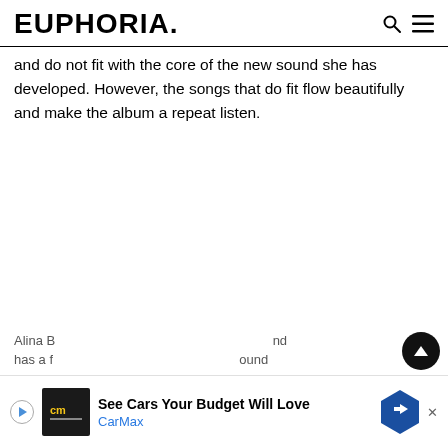EUPHORIA.
and do not fit with the core of the new sound she has developed. However, the songs that do fit flow beautifully and make the album a repeat listen.
Alina B... has a fi... ound
[Figure (screenshot): Advertisement banner: CarMax 'See Cars Your Budget Will Love' with play button, CM logo, and navigation arrow icon]